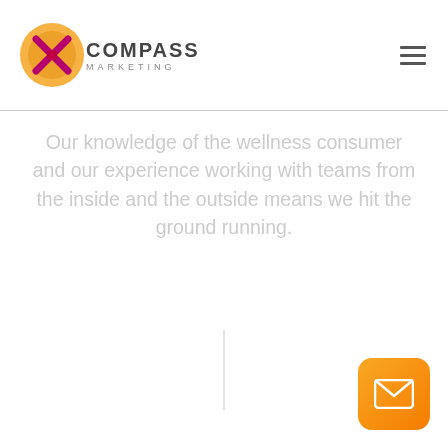[Figure (logo): Compass Marketing logo with orange/yellow circular compass icon and text COMPASS MARKETING]
Our knowledge of the wellness consumer and our experience working with teams from the inside and the outside means we hit the ground running.
[Figure (other): Orange gradient email/contact button with envelope icon in bottom right corner]